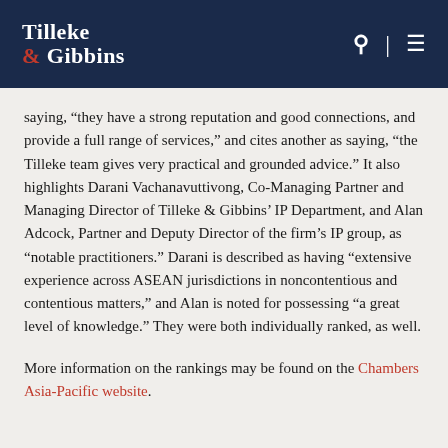Tilleke & Gibbins
saying, “they have a strong reputation and good connections, and provide a full range of services,” and cites another as saying, “the Tilleke team gives very practical and grounded advice.” It also highlights Darani Vachanavuttivong, Co-Managing Partner and Managing Director of Tilleke & Gibbins’ IP Department, and Alan Adcock, Partner and Deputy Director of the firm’s IP group, as “notable practitioners.” Darani is described as having “extensive experience across ASEAN jurisdictions in noncontentious and contentious matters,” and Alan is noted for possessing “a great level of knowledge.” They were both individually ranked, as well.
More information on the rankings may be found on the Chambers Asia-Pacific website.